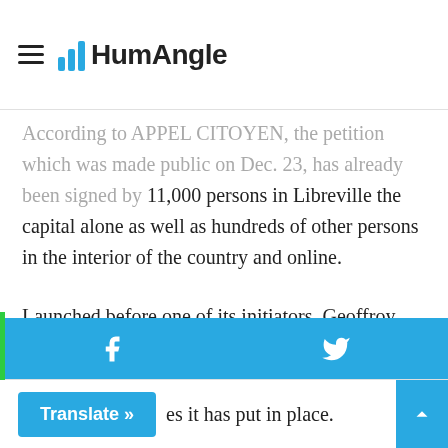HumAngle
According to APPEL CITOYEN, the petition which was made public on Dec. 23, has already been signed by 11,000 persons in Libreville the capital alone as well as hundreds of other persons in the interior of the country and online.
Launched before one of its initiators, Geoffroy Foumboula Libeka Makosso was quizzed by the Constitutional Court which he and his colleague Jean Valentin Leyama had petitioned for the annulment of Arrete Number 559/PM of Nov. 25, 2021 instituting strict anti-coronavirus barrier measures, the petition is intended to convince the national [authorities to abolish it and lift] the [measures] it has put in place.